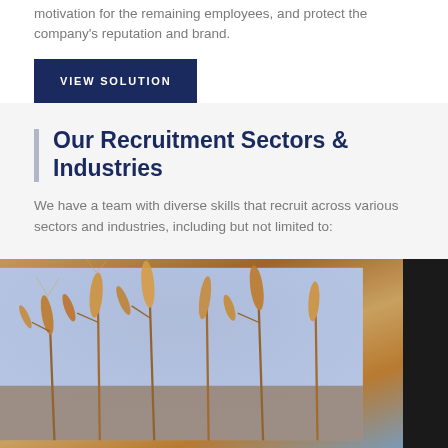motivation for the remaining employees, and protect the company's reputation and brand.
VIEW SOLUTION
Our Recruitment Sectors & Industries
We have a team with diverse skills that recruit across various sectors and industries, including but not limited to:
[Figure (photo): Close-up photograph of golden wheat stalks against a blue sky background, with a dark panel on the right edge.]